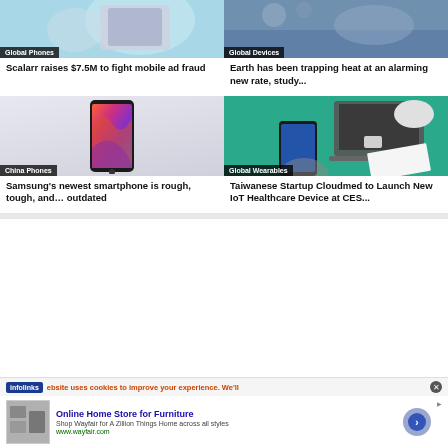[Figure (photo): Phone/tablet device on teal background with Global Phones badge]
Scalarr raises $7.5M to fight mobile ad fraud
[Figure (photo): Rain/water drops on glass with Global Devices badge]
Earth has been trapping heat at an alarming new rate, study...
[Figure (photo): Samsung smartphone with colorful abstract wallpaper, China Phones badge]
Samsung's newest smartphone is rough, tough, and... outdated
[Figure (photo): Tech devices on teal background with Global Wearables badge]
Taiwanese Startup Cloudmed to Launch New IoT Healthcare Device at CES...
infolinks  ebsite uses cookies to improve your experience. We'll
Online Home Store for Furniture
Shop Wayfair for A Zillion Things Home across all styles
www.wayfair.com